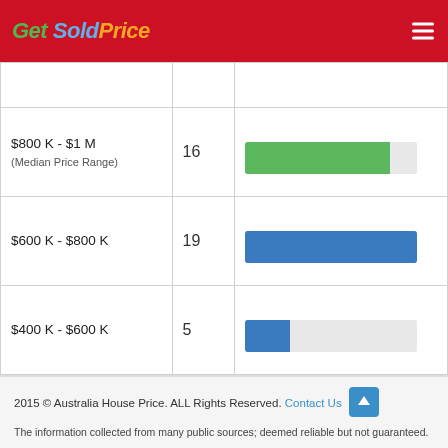Get Sold Price
| Price Range | Count | Bar |
| --- | --- | --- |
|  |  |  |
| $800 K - $1 M (Median Price Range) | 16 | bar ~84% |
| $600 K - $800 K | 19 | bar 100% |
| $400 K - $600 K | 5 | bar ~26% |
| less than $400 K | 2 | bar ~10% |
2015 © Australia House Price. ALL Rights Reserved. Contact Us
The information collected from many public sources; deemed reliable but not guaranteed.